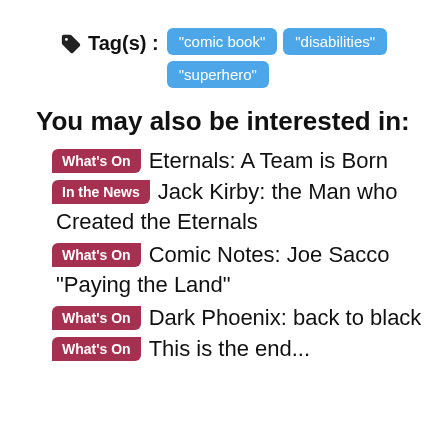Tag(s) : "comic book" "disabilities" "superhero"
You may also be interested in:
What's On  Eternals: A Team is Born
In the News  Jack Kirby: the Man who Created the Eternals
What's On  Comic Notes: Joe Sacco "Paying the Land"
What's On  Dark Phoenix: back to black
What's On  This is the end...